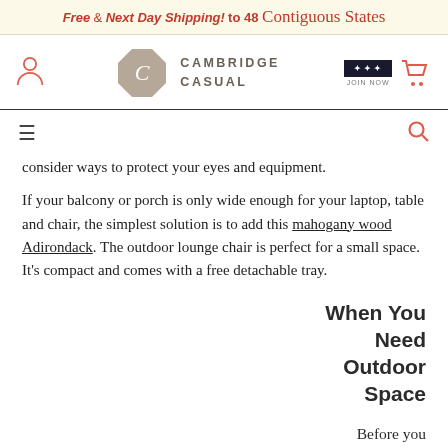Free & Next Day Shipping! to 48 Contiguous States
[Figure (logo): Cambridge Casual logo with circular C emblem and brand name]
consider ways to protect your eyes and equipment.
If your balcony or porch is only wide enough for your laptop, table and chair, the simplest solution is to add this mahogany wood Adirondack. The outdoor lounge chair is perfect for a small space. It's compact and comes with a free detachable tray.
When You Need Outdoor Space
Before you start moving